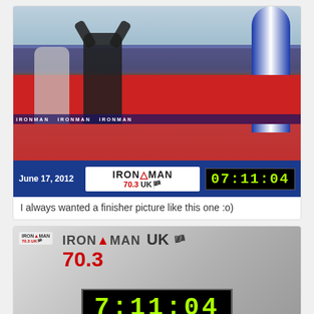[Figure (photo): Triathlete crossing the finish line of Ironman 70.3 UK on June 17, 2012 with arms raised in celebration. Official time shown as 07:11:04. Red finish carpet, Ironman branded arch and banners visible.]
I always wanted a finisher picture like this one :o)
[Figure (photo): Close-up of the Ironman 70.3 UK finish line timer board showing the time 07:11:04 in green LED digits. Ironman 70.3 UK branding prominently displayed.]